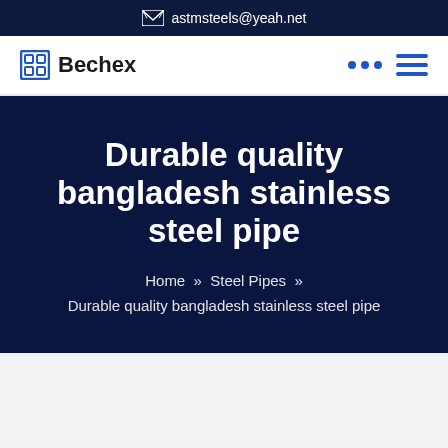astmsteels@yeah.net
[Figure (logo): Bechex logo with blue square icon and bold text]
Durable quality bangladesh stainless steel pipe
Home » Steel Pipes » Durable quality bangladesh stainless steel pipe